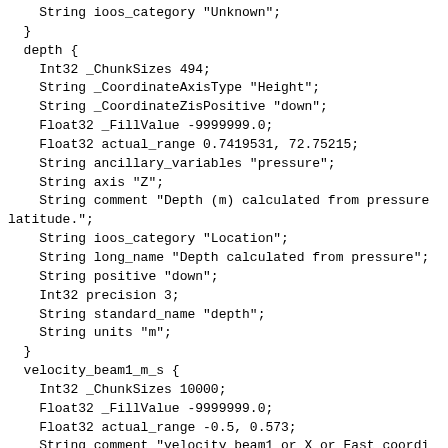String ioos_category "Unknown";
  }
  depth {
    Int32 _ChunkSizes 494;
    String _CoordinateAxisType "Height";
    String _CoordinateZisPositive "down";
    Float32 _FillValue -9999999.0;
    Float32 actual_range 0.7419531, 72.75215;
    String ancillary_variables "pressure";
    String axis "Z";
    String comment "Depth (m) calculated from pressure
latitude.";
    String ioos_category "Location";
    String long_name "Depth calculated from pressure";
    String positive "down";
    Int32 precision 3;
    String standard_name "depth";
    String units "m";
  }
  velocity_beam1_m_s {
    Int32 _ChunkSizes 10000;
    Float32 _FillValue -9999999.0;
    Float32 actual_range -0.5, 0.573;
    String comment "velocity beam1 or X or East coordi
    String coordinates "lat depth lon time";